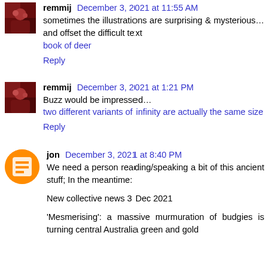remmij December 3, 2021 at 11:55 AM
sometimes the illustrations are surprising & mysterious… and offset the difficult text
book of deer
Reply
remmij December 3, 2021 at 1:21 PM
Buzz would be impressed…
two different variants of infinity are actually the same size
Reply
jon December 3, 2021 at 8:40 PM
We need a person reading/speaking a bit of this ancient stuff; In the meantime:

New collective news 3 Dec 2021

'Mesmerising': a massive murmuration of budgies is turning central Australia green and gold